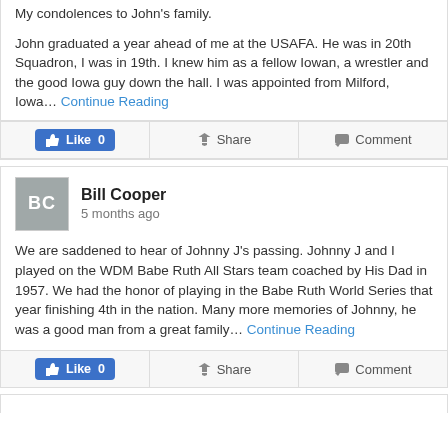My condolences to John's family.

John graduated a year ahead of me at the USAFA. He was in 20th Squadron, I was in 19th. I knew him as a fellow Iowan, a wrestler and the good Iowa guy down the hall. I was appointed from Milford, Iowa... Continue Reading
Bill Cooper
5 months ago
We are saddened to hear of Johnny J's passing. Johnny J and I played on the WDM Babe Ruth All Stars team coached by His Dad in 1957. We had the honor of playing in the Babe Ruth World Series that year finishing 4th in the nation. Many more memories of Johnny, he was a good man from a great family... Continue Reading